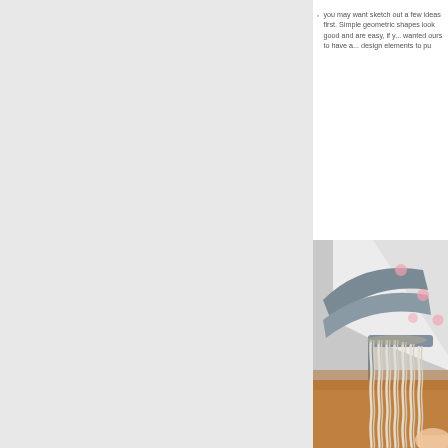you may want sketch out a few ideas first. Simple geometric shapes look good and are easy, if you're not feeling confident in your drawing skills. We wanted ours to have a variety of design elements to pu
[Figure (photo): Close-up photo showing a craft project: a gray curved frame or hanger with white fabric or paper decorated with pink polka dots, and twisted white rope/cord fringe hanging from the bottom. A person's hand is visible at the lower right.]